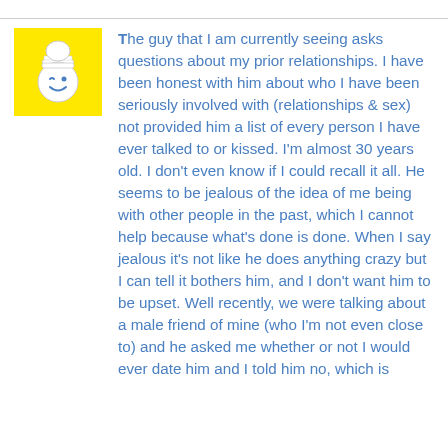[Figure (illustration): Yellow square avatar icon with a cartoon smiley face wearing a chef's hat, winking]
The guy that I am currently seeing asks questions about my prior relationships. I have been honest with him about who I have been seriously involved with (relationships & sex) not provided him a list of every person I have ever talked to or kissed. I'm almost 30 years old. I don't even know if I could recall it all. He seems to be jealous of the idea of me being with other people in the past, which I cannot help because what's done is done. When I say jealous it's not like he does anything crazy but I can tell it bothers him, and I don't want him to be upset. Well recently, we were talking about a male friend of mine (who I'm not even close to) and he asked me whether or not I would ever date him and I told him no, which is